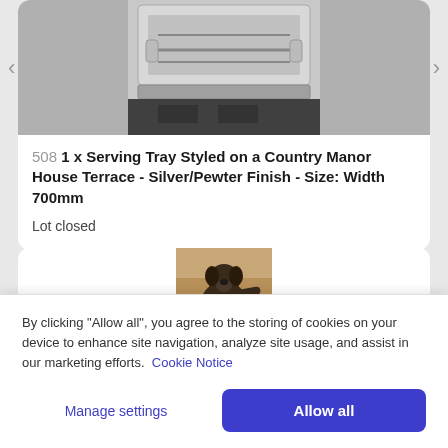[Figure (photo): Photo of a silver/pewter serving tray viewed from below, showing metal framework and handles]
508 1 x Serving Tray Styled on a Country Manor House Terrace - Silver/Pewter Finish - Size: Width 700mm
Lot closed
[Figure (photo): Photo of a bronze/dark metal decorative dog figurine statue]
By clicking “Allow all”, you agree to the storing of cookies on your device to enhance site navigation, analyze site usage, and assist in our marketing efforts. Cookie Notice
Manage settings
Allow all